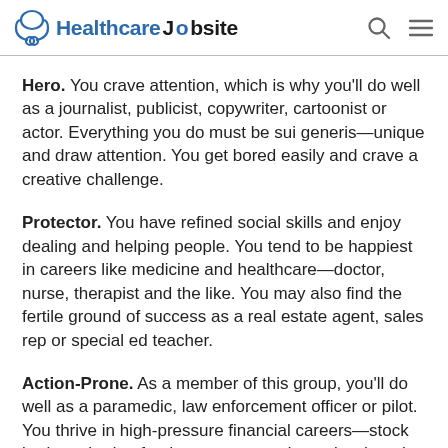HealthcareJobsite
Hero. You crave attention, which is why you'll do well as a journalist, publicist, copywriter, cartoonist or actor. Everything you do must be sui generis—unique and draw attention. You get bored easily and crave a creative challenge.
Protector. You have refined social skills and enjoy dealing and helping people. You tend to be happiest in careers like medicine and healthcare—doctor, nurse, therapist and the like. You may also find the fertile ground of success as a real estate agent, sales rep or special ed teacher.
Action-Prone. As a member of this group, you'll do well as a paramedic, law enforcement officer or pilot. You thrive in high-pressure financial careers—stock brokers, hedge fund managers, and people who take risks. You need to be